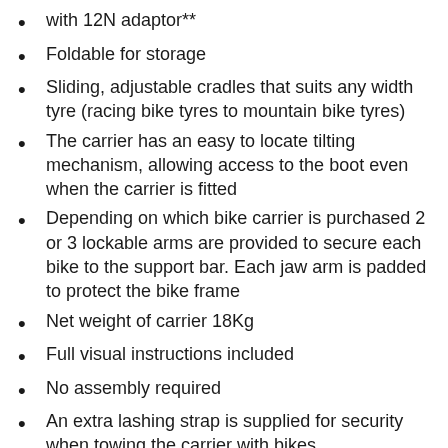with 12N adaptor**
Foldable for storage
Sliding, adjustable cradles that suits any width tyre (racing bike tyres to mountain bike tyres)
The carrier has an easy to locate tilting mechanism, allowing access to the boot even when the carrier is fitted
Depending on which bike carrier is purchased 2 or 3 lockable arms are provided to secure each bike to the support bar. Each jaw arm is padded to protect the bike frame
Net weight of carrier 18Kg
Full visual instructions included
No assembly required
An extra lashing strap is supplied for security when towing the carrier with bikes